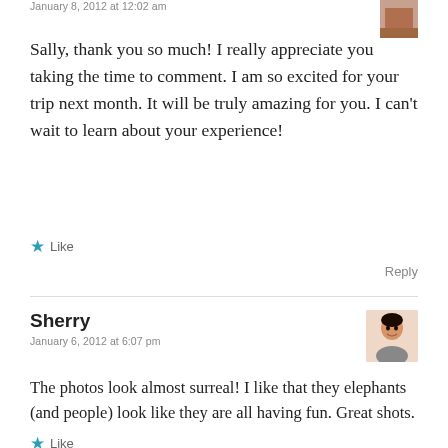January 8, 2012 at 12:02 am
Sally, thank you so much! I really appreciate you taking the time to comment. I am so excited for your trip next month. It will be truly amazing for you. I can't wait to learn about your experience!
★ Like
Reply
Sherry
January 6, 2012 at 6:07 pm
The photos look almost surreal! I like that they elephants (and people) look like they are all having fun. Great shots.
★ Like